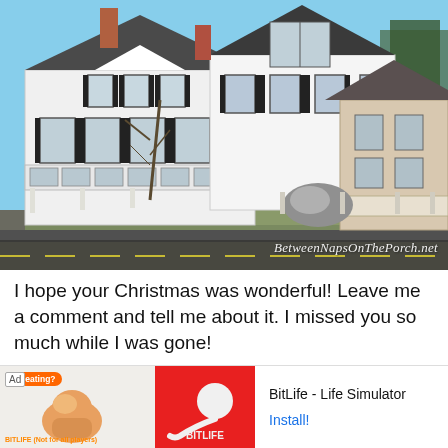[Figure (photo): Exterior photo of large white Victorian-style houses along a road in winter, bare trees visible, blue sky. Watermark reads BetweenNapsOnThePorch.net]
I hope your Christmas was wonderful! Leave me a comment and tell me about it. I missed you so much while I was gone!
Farmhouse Kitchen... (partially visible heading cut off by ad banner)
[Figure (screenshot): Advertisement banner at bottom: Ad label, left panel showing cheating/muscle arm illustration with 'Cheating?' bubble, center panel showing BitLife sperm logo on red background, right panel showing 'BitLife - Life Simulator' text and 'Install!' button]